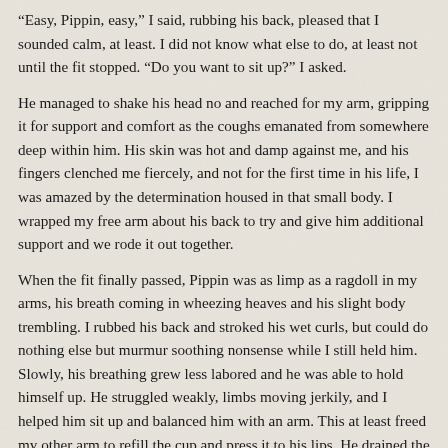"Easy, Pippin, easy," I said, rubbing his back, pleased that I sounded calm, at least. I did not know what else to do, at least not until the fit stopped. "Do you want to sit up?" I asked.
He managed to shake his head no and reached for my arm, gripping it for support and comfort as the coughs emanated from somewhere deep within him. His skin was hot and damp against me, and his fingers clenched me fiercely, and not for the first time in his life, I was amazed by the determination housed in that small body. I wrapped my free arm about his back to try and give him additional support and we rode it out together.
When the fit finally passed, Pippin was as limp as a ragdoll in my arms, his breath coming in wheezing heaves and his slight body trembling. I rubbed his back and stroked his wet curls, but could do nothing else but murmur soothing nonsense while I still held him. Slowly, his breathing grew less labored and he was able to hold himself up. He struggled weakly, limbs moving jerkily, and I helped him sit up and balanced him with an arm. This at least freed my other arm to refill the cup and press it to his lips. He drained the cup and then whispered, "Thank you."
I kissed the top of his head and his fever met my lips. His nightshirt and the bedding was soaked, and even my shirt was damp from holding him. Pippin hunched over, still breathing heavily and with ominous rattles coming from his chest that made my own breath catch in my throat.
'Foolish Baggins,' I berated myself silently. 'You have made a mess of this.' I saw clearly all of the now-glaring signs of Pippin's